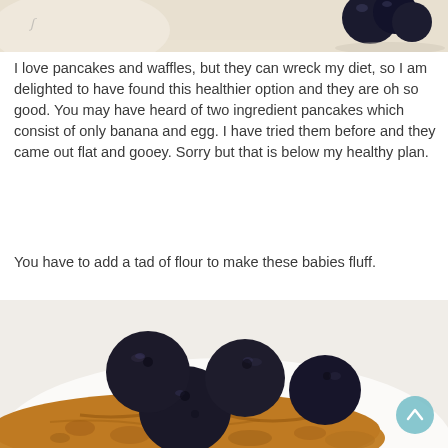[Figure (photo): Partial top photo showing blueberries and a white dish on a light surface]
I love pancakes and waffles, but they can wreck my diet, so I am delighted to have found this healthier option and they are oh so good. You may have heard of two ingredient pancakes which consist of only banana and egg. I have tried them before and they came out flat and gooey. Sorry but that is below my healthy plan.
You have to add a tad of flour to make these babies fluff.
[Figure (photo): Close-up photo of fluffy pancakes topped with several large blueberries glistening with syrup on a white plate]